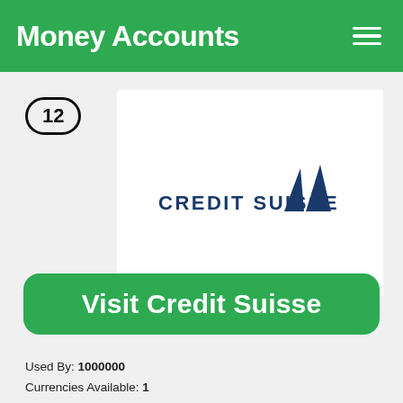Money Accounts
12
[Figure (logo): Credit Suisse logo with stylized sailboat/sail mark in navy blue]
Visit Credit Suisse
Used By: 1000000
Currencies Available: 1